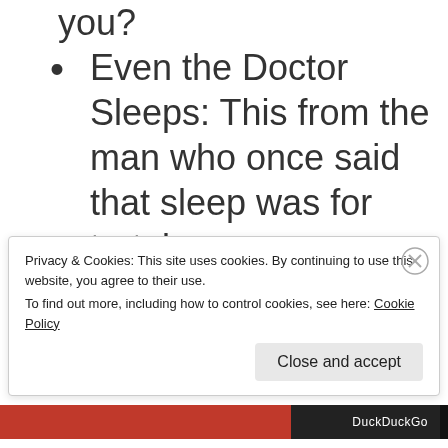you?
Even the Doctor Sleeps: This from the man who once said that sleep was for tortoises.
Mr. Sandman: You have to admit Doctor, Sandmen is a bit catchier than Dustmen.
Privacy & Cookies: This site uses cookies. By continuing to use this website, you agree to their use.
To find out more, including how to control cookies, see here: Cookie Policy
Close and accept